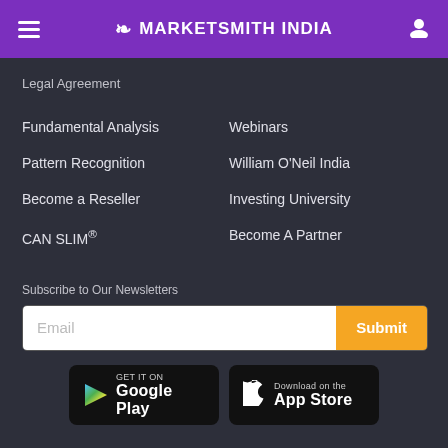MarketSmith India
Legal Agreement
Fundamental Analysis
Webinars
Pattern Recognition
William O'Neil India
Become a Reseller
Investing University
CAN SLIM®
Become A Partner
Subscribe to Our Newsletters
Email
Submit
[Figure (screenshot): Google Play store download button]
[Figure (screenshot): Apple App Store download button]